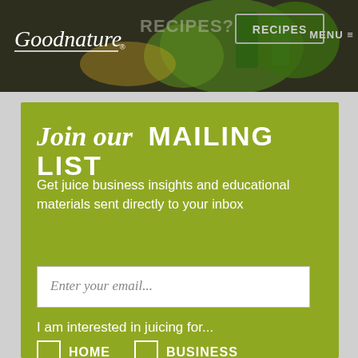[Figure (screenshot): Goodnature website header banner with logo, RECIPES button, and MENU navigation on dark background with green juice imagery]
Join our MAILING LIST
Get juice business insights and educational materials sent directly to your inbox
Enter your email...
I am interested in juicing for...
HOME
BUSINESS